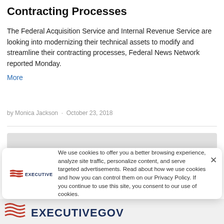Contracting Processes
The Federal Acquisition Service and Internal Revenue Service are looking into modernizing their technical assets to modify and streamline their contracting processes, Federal News Network reported Monday.
More
by Monica Jackson · October 23, 2018
[Figure (screenshot): Cookie consent popup with ExecutiveGov logo and text: We use cookies to offer you a better browsing experience, analyze site traffic, personalize content, and serve targeted advertisements. Read about how we use cookies and how you can control them on our Privacy Policy. If you continue to use this site, you consent to our use of cookies.]
[Figure (logo): ExecutiveGov logo at bottom of page with flag/wave icon and stylized text EXECUTIVEGOV]